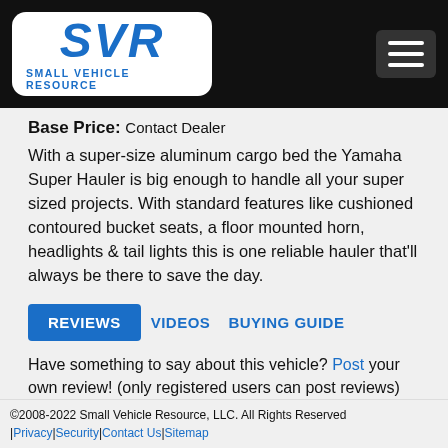[Figure (logo): SVR Small Vehicle Resource logo on black navigation bar with hamburger menu icon]
Base Price: Contact Dealer
With a super-size aluminum cargo bed the Yamaha Super Hauler is big enough to handle all your super sized projects. With standard features like cushioned contoured bucket seats, a floor mounted horn, headlights & tail lights this is one reliable hauler that'll always be there to save the day.
REVIEWS   VIDEOS   BUYING GUIDE
Have something to say about this vehicle? Post your own review! (only registered users can post reviews)
No reviews posted for this vehicle.
©2008-2022 Small Vehicle Resource, LLC. All Rights Reserved | Privacy | Security | Contact Us | Sitemap